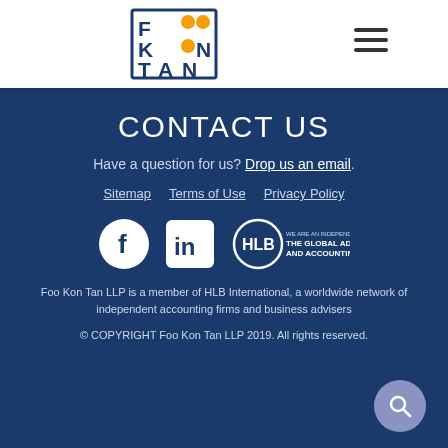[Figure (logo): Foo Kon Tan LLP logo — stylized FKT letters with orange and yellow dots in a dark blue bordered box]
CONTACT US
Have a question for us? Drop us an email.
Sitemap
Terms of Use
Privacy Policy
[Figure (logo): Facebook icon (white F on dark circle), LinkedIn icon (white in on dark square), HLB International logo with text 'WE ARE AN INDEPENDENT MEMBER OF THE GLOBAL ADVISORY AND ACCOUNTING NETWORK']
Foo Kon Tan LLP is a member of HLB International, a worldwide network of independent accounting firms and business advisers
© COPYRIGHT Foo Kon Tan LLP 2019. All rights reserved.